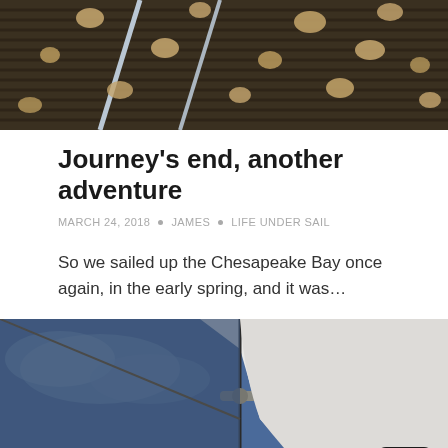[Figure (photo): Aerial or close-up photo of a dark corrugated surface with pale rounded rocks or pebbles and two diagonal white lines]
Journey's end, another adventure
MARCH 24, 2018 • JAMES • LIFE UNDER SAIL
So we sailed up the Chesapeake Bay once again, in the early spring, and it was…
[Figure (photo): Photo looking up at a white sail against a blue sky with rigging hardware visible]